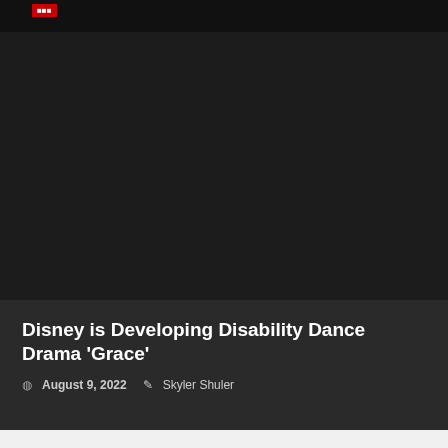[Figure (photo): Partial top of an article card showing a dark image with a red category label badge in the upper left corner]
Disney is Developing Disability Dance Drama 'Grace'
August 9, 2022  Skyler Shuler